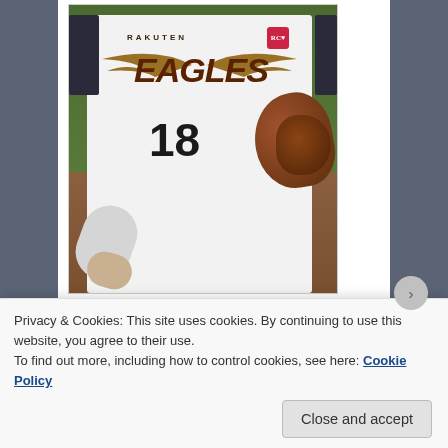[Figure (photo): Baseball player wearing a Rakuten Eagles white jersey with number 18, holding a brown leather glove, photographed from chest down]
Despite reportedly wanting to remain under the 189 million dollar luxury tax threshold, this deal to Tanaka blows right past that. The Yankees have now spent nearly 500 million dollars this offseason, with the biggest
Privacy & Cookies: This site uses cookies. By continuing to use this website, you agree to their use.
To find out more, including how to control cookies, see here: Cookie Policy